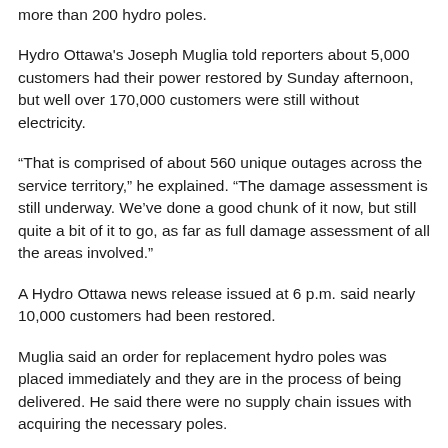more than 200 hydro poles.
Hydro Ottawa's Joseph Muglia told reporters about 5,000 customers had their power restored by Sunday afternoon, but well over 170,000 customers were still without electricity.
“That is comprised of about 560 unique outages across the service territory,” he explained. “The damage assessment is still underway. We’ve done a good chunk of it now, but still quite a bit of it to go, as far as full damage assessment of all the areas involved.”
A Hydro Ottawa news release issued at 6 p.m. said nearly 10,000 customers had been restored.
Muglia said an order for replacement hydro poles was placed immediately and they are in the process of being delivered. He said there were no supply chain issues with acquiring the necessary poles.